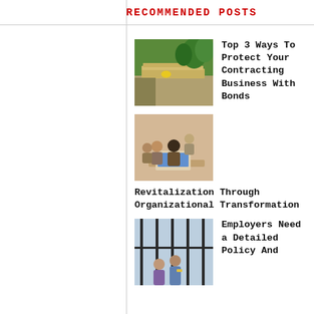RECOMMENDED POSTS
[Figure (photo): Construction site with lumber on a flatbed truck, trees in background]
Top 3 Ways To Protect Your Contracting Business With Bonds
[Figure (photo): Group of diverse business people looking at a laptop screen together]
Revitalization Through Organizational Transformation
[Figure (photo): Two women talking near large glass windows in an office setting]
Employers Need a Detailed Policy And